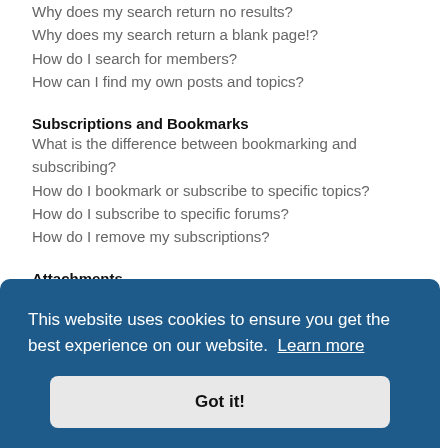Why does my search return no results?
Why does my search return a blank page!?
How do I search for members?
How can I find my own posts and topics?
Subscriptions and Bookmarks
What is the difference between bookmarking and subscribing?
How do I bookmark or subscribe to specific topics?
How do I subscribe to specific forums?
How do I remove my subscriptions?
Attachments
What attachments are allowed on this board?
How do I find all my attachments?
This website uses cookies to ensure you get the best experience on our website. Learn more
Got it!